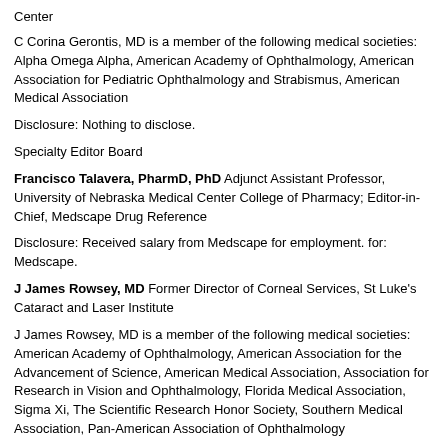Center
C Corina Gerontis, MD is a member of the following medical societies: Alpha Omega Alpha, American Academy of Ophthalmology, American Association for Pediatric Ophthalmology and Strabismus, American Medical Association
Disclosure: Nothing to disclose.
Specialty Editor Board
Francisco Talavera, PharmD, PhD Adjunct Assistant Professor, University of Nebraska Medical Center College of Pharmacy; Editor-in-Chief, Medscape Drug Reference
Disclosure: Received salary from Medscape for employment. for: Medscape.
J James Rowsey, MD Former Director of Corneal Services, St Luke's Cataract and Laser Institute
J James Rowsey, MD is a member of the following medical societies: American Academy of Ophthalmology, American Association for the Advancement of Science, American Medical Association, Association for Research in Vision and Ophthalmology, Florida Medical Association, Sigma Xi, The Scientific Research Honor Society, Southern Medical Association, Pan-American Association of Ophthalmology
Disclosure: Nothing to disclose.
Chief Editor
Edsel B Ing, MD, PhD, MBA, MEd, MPH, MA, FRCSC Professor,